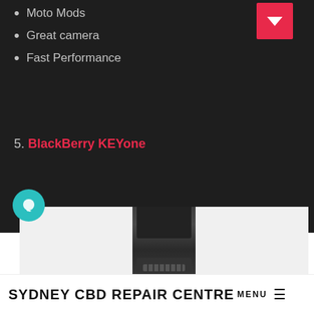Moto Mods
Great camera
Fast Performance
5. BlackBerry KEYone
[Figure (photo): Photo of a BlackBerry KEYone smartphone on a white/light background]
SYDNEY CBD REPAIR CENTRE MENU ≡